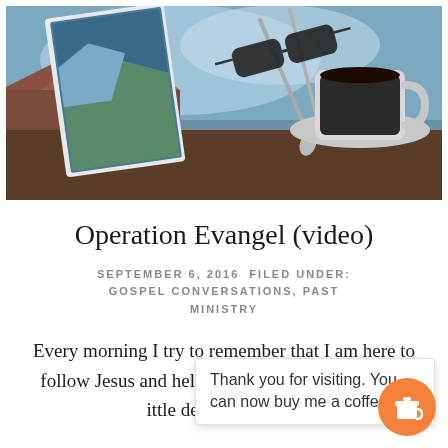[Figure (photo): Hero photograph showing a book or tablet with a landscape painting, a coffee cup with saucer and spoon, and sunglasses on a wooden table.]
Operation Evangel (video)
SEPTEMBER 6, 2016 FILED UNDER: GOSPEL CONVERSATIONS, PAST MINISTRY
Every morning I try to remember that I am here to follow Jesus and help other people follow J... little des... ang
Thank you for visiting. You can now buy me a coffee!